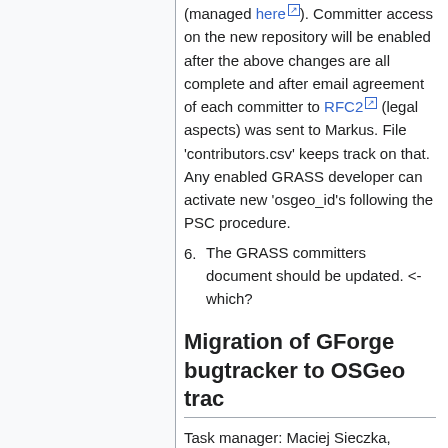(managed here). Committer access on the new repository will be enabled after the above changes are all complete and after email agreement of each committer to RFC2 (legal aspects) was sent to Markus. File 'contributors.csv' keeps track on that. Any enabled GRASS developer can activate new 'osgeo_id's following the PSC procedure.
6. The GRASS committers document should be updated. <- which?
Migration of GForge bugtracker to OSGeo trac
Task manager: Maciej Sieczka, Howard Butler